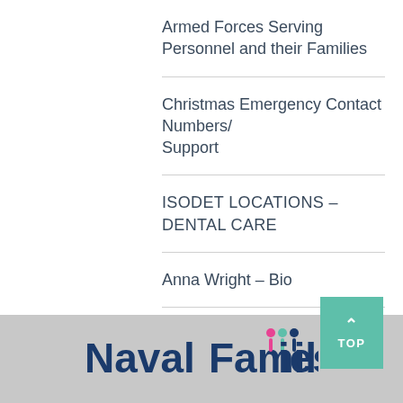Armed Forces Serving Personnel and their Families
Christmas Emergency Contact Numbers/Support
ISODET LOCATIONS – DENTAL CARE
Anna Wright – Bio
[Figure (logo): Naval Families logo with colorful figure icons in the word Families]
Naval Families